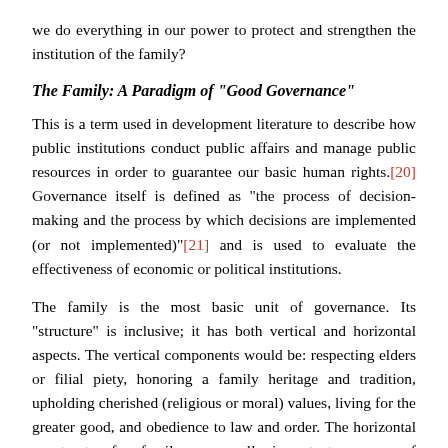we do everything in our power to protect and strengthen the institution of the family?
The Family: A Paradigm of "Good Governance"
This is a term used in development literature to describe how public institutions conduct public affairs and manage public resources in order to guarantee our basic human rights.[20] Governance itself is defined as "the process of decision-making and the process by which decisions are imple­mented (or not implemented)"[21] and is used to evaluate the effectiveness of economic or political institutions.
The family is the most basic unit of governance. Its "structure" is inclusive; it has both vertical and horizontal aspects. The vertical components would be: respecting elders or filial piety, honoring a family heritage and tradition, upholding cherished (religious or moral) values, living for the greater good, and obedience to law and order. The horizontal constructs of a family are equally important: a sense of shared ownership and opportunity,